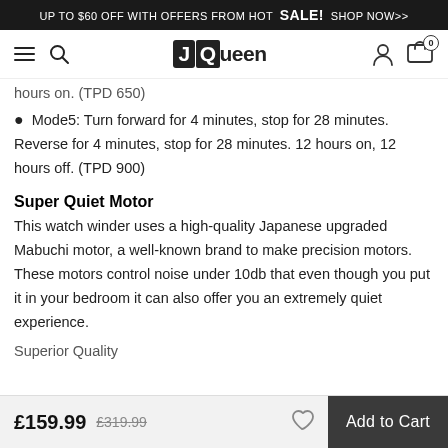UP TO $60 OFF WITH OFFERS FROM HOT SALE! SHOP NOW>>
JQueen navigation bar with menu, search, logo, user account and cart icons
hours on. (TPD 650)
Mode5: Turn forward for 4 minutes, stop for 28 minutes. Reverse for 4 minutes, stop for 28 minutes. 12 hours on, 12 hours off. (TPD 900)
Super Quiet Motor
This watch winder uses a high-quality Japanese upgraded Mabuchi motor, a well-known brand to make precision motors. These motors control noise under 10db that even though you put it in your bedroom it can also offer you an extremely quiet experience.
£159.99  £319.99  [heart]  Add to Cart